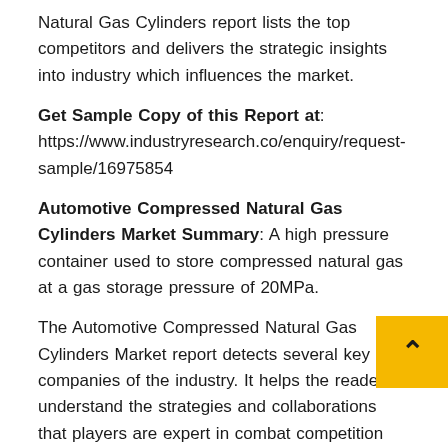Natural Gas Cylinders report lists the top competitors and delivers the strategic insights into industry which influences the market.
Get Sample Copy of this Report at: https://www.industryresearch.co/enquiry/request-sample/16975854
Automotive Compressed Natural Gas Cylinders Market Summary: A high pressure container used to store compressed natural gas at a gas storage pressure of 20MPa.
The Automotive Compressed Natural Gas Cylinders Market report detects several key companies of the industry. It helps the reader understand the strategies and collaborations that players are expert in combat competition within the market. The report provides a microscopic look into the Automotive Compressed Natural Gas Cylinders industry. The reader can identify the footprints of the manufacturers by knowing about the